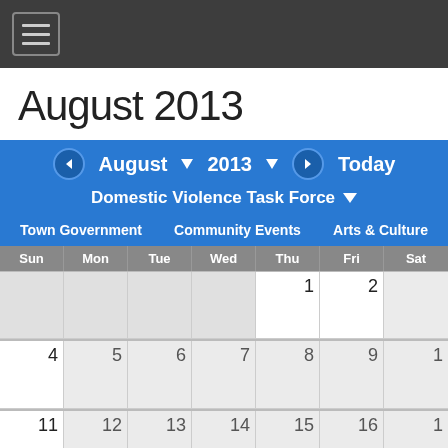Navigation menu (hamburger icon)
August 2013
← August ▾  2013 ▾  → Today
Domestic Violence Task Force ▾
Town Government   Community Events   Arts & Culture
| Sun | Mon | Tue | Wed | Thu | Fri | Sat |
| --- | --- | --- | --- | --- | --- | --- |
|  |  |  |  | 1 | 2 |  |
| 4 | 5 | 6 | 7 | 8 | 9 | 1 |
| 11 | 12 | 13 | 14 | 15 | 16 | 1 |